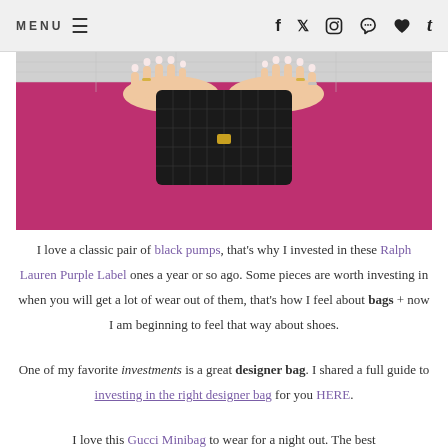MENU  ☰  f  t  [instagram]  [pinterest]  [heart]  t
[Figure (photo): A woman in a bright magenta/pink dress holding a black quilted Gucci clutch bag with a gold clasp. Her hands show manicured nails and rings. The background is a light neutral wall.]
I love a classic pair of black pumps, that's why I invested in these Ralph Lauren Purple Label ones a year or so ago. Some pieces are worth investing in when you will get a lot of wear out of them, that's how I feel about bags + now I am beginning to feel that way about shoes.
One of my favorite investments is a great designer bag. I shared a full guide to investing in the right designer bag for you HERE.
I love this Gucci Minibag to wear for a night out. The best